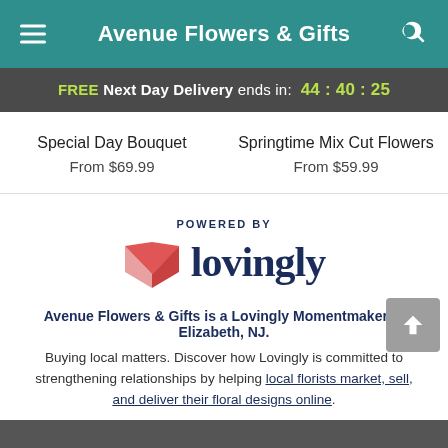Avenue Flowers & Gifts
FREE Next Day Delivery ends in: 44 : 40 : 25
Special Day Bouquet
From $69.99
Springtime Mix Cut Flowers
From $59.99
[Figure (logo): Lovingly logo with pink/red heart shape icon and 'lovingly' wordmark in dark navy, with 'POWERED BY' label above]
Avenue Flowers & Gifts is a Lovingly Momentmaker in Elizabeth, NJ.
Buying local matters. Discover how Lovingly is committed to strengthening relationships by helping local florists market, sell, and deliver their floral designs online.